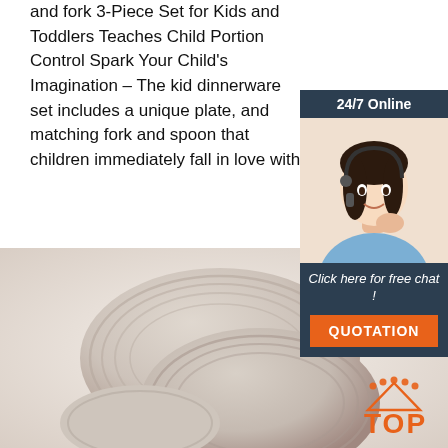and fork 3-Piece Set for Kids and Toddlers Teaches Child Portion Control Spark Your Child's Imagination – The kid dinnerware set includes a unique plate, and matching fork and spoon that children immediately fall in love with.
[Figure (other): Get Price orange button]
[Figure (other): 24/7 Online chat widget with customer service representative photo, 'Click here for free chat!' text, and orange QUOTATION button]
[Figure (photo): Product photo of beige/taupe ribbed ceramic bowls and plates, children's dinnerware set, on light background. TOP logo visible in bottom right.]